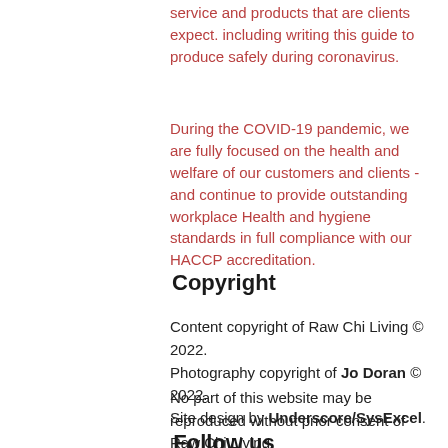service and products that are clients expect. including writing this guide to produce safely during coronavirus.
During the COVID-19 pandemic, we are fully focused on the health and welfare of our customers and clients - and continue to provide outstanding workplace Health and hygiene standards in full compliance with our HACCP accreditation.
Copyright
Content copyright of Raw Chi Living © 2022.
Photography copyright of Jo Doran © 2022.
Site design by Underscore/SysExcel.
No part of this website may be reproduced without prior consent of Raw Chi Living.
Follow us
[Figure (illustration): Three circular social media icons: Facebook, Instagram, Pinterest, in grey color]